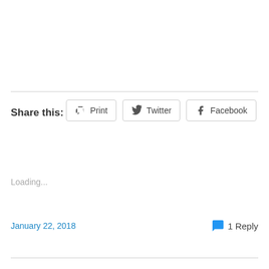Share this:
Print  Twitter  Facebook
Loading...
January 22, 2018
1 Reply